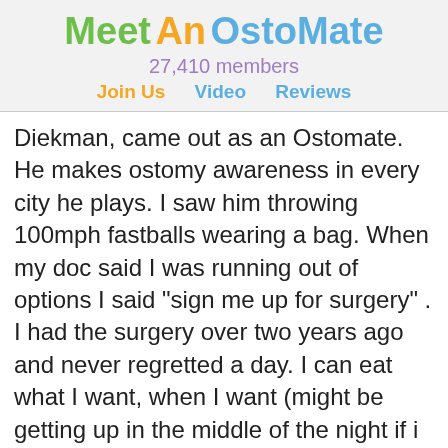Meet An OstoMate
27,410 members
Join Us   Video   Reviews
Diekman, came out as an Ostomate.  He makes ostomy awareness in every city he plays.  I saw him throwing 100mph fastballs wearing a bag.  When my doc said I was running out of options I said "sign me up for surgery" .  I had the surgery over two years ago and never regretted a day.  I can eat what I want, when I want (might be getting up in the middle of the night if i eat too late).  I realize I am extremely fortunate.  Many others have not had such luck.  Looking back, I wish I had done it sooner!
Currently online: 27